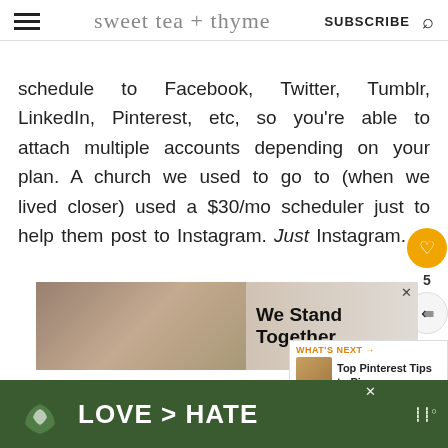sweet tea + thyme  SUBSCRIBE
schedule to Facebook, Twitter, Tumblr, LinkedIn, Pinterest, etc, so you're able to attach multiple accounts depending on your plan. A church we used to go to (when we lived closer) used a $30/mo scheduler just to help them post to Instagram. Just Instagram.
[Figure (photo): Advertisement banner showing a group of people with arms around each other from behind, with text 'We Stand Together' on the right side]
[Figure (photo): Bottom advertisement banner with green background showing hands making a heart shape and text 'LOVE > HATE']